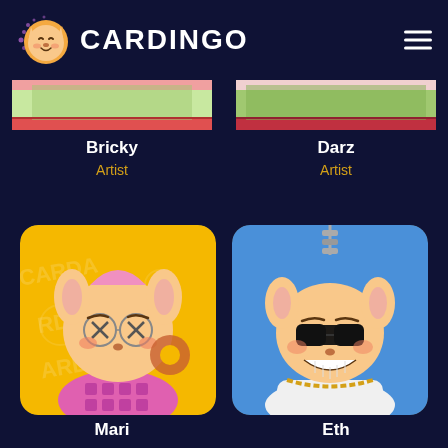[Figure (logo): Cardingo logo: cartoon shiba inu dog face with purple dot halo, beside bold white text CARDINGO, and hamburger menu icon on right]
[Figure (illustration): Partial view of two NFT card artwork strips — left card with colorful illustration, right card with colorful illustration]
Bricky
Artist
Darz
Artist
[Figure (illustration): NFT card of cartoon shiba inu character named Mari — yellow background with watermark, wearing pink outfit and round X-eye glasses]
[Figure (illustration): NFT card of cartoon shiba inu character named Eth — blue background, wearing black sunglasses and gold chain necklace with silver chain from top]
Mari
Eth